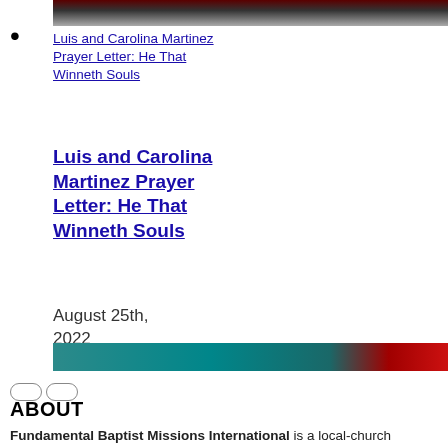[Figure (photo): Partial photo strip of two people visible at top of page]
Luis and Carolina Martinez Prayer Letter: He That Winneth Souls
Luis and Carolina Martinez Prayer Letter: He That Winneth Souls
August 25th, 2022
[Figure (photo): Teal and red decorative horizontal image bar]
[Figure (other): Two oval/rounded rectangle social sharing or navigation icons]
ABOUT
Fundamental Baptist Missions International is a local-church missions agency that trains, supports, finances, and develops